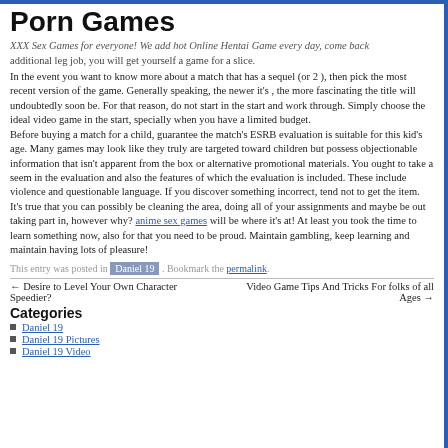Porn Games
XXX Sex Games for everyone! We add hot Online Hentai Game every day, come back
additional leg job, you will get yourself a game for a slice.
In the event you want to know more about a match that has a sequel (or 2 ), then pick the most recent version of the game. Generally speaking, the newer it's , the more fascinating the title will undoubtedly soon be. For that reason, do not start in the start and work through. Simply choose the ideal video game in the start, specially when you have a limited budget.
Before buying a match for a child, guarantee the match's ESRB evaluation is suitable for this kid's age. Many games may look like they truly are targeted toward children but possess objectionable information that isn't apparent from the box or alternative promotional materials. You ought to take a seem in the evaluation and also the features of which the evaluation is included. These include violence and questionable language. If you discover something incorrect, tend not to get the item.
It's true that you can possibly be cleaning the area, doing all of your assignments and maybe be out taking part in, however why? anime sex games will be where it's at! At least you took the time to learn something now, also for that you need to be proud. Maintain gambling, keep learning and maintain having lots of pleasure!
This entry was posted in Daniel 19 . Bookmark the permalink.
← Desire to Level Your Own Character Speedier?
Video Game Tips And Tricks For folks of all Ages →
Categories
Daniel 19
Daniel 19 Pictures
Daniel 19 Video